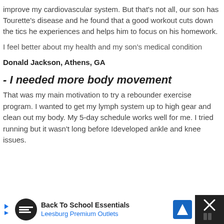improve my cardiovascular system. But that's not all, our son has Tourette's disease and he found that a good workout cuts down the tics he experiences and helps him to focus on his homework.
I feel better about my health and my son's medical condition
Donald Jackson, Athens, GA
- I needed more body movement
That was my main motivation to try a rebounder exercise program. I wanted to get my lymph system up to high gear and clean out my body. My 5-day schedule works well for me. I tried running but it wasn't long before I developed ankle and knee issues.
[Figure (screenshot): Advertisement banner for Back To School Essentials by Leesburg Premium Outlets with navigation icon]